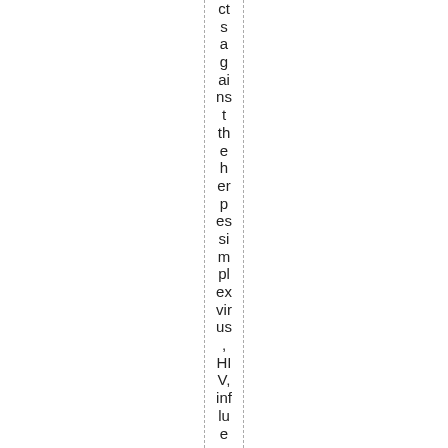cts against the herpes simplex virus, HIV, influenza and